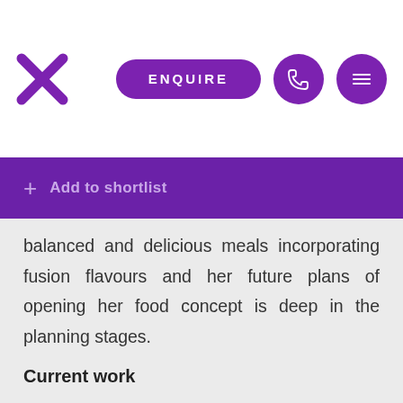[Figure (logo): Purple X logo mark]
[Figure (other): Purple ENQUIRE button with rounded pill shape]
[Figure (other): Purple circle with phone icon]
[Figure (other): Purple circle with hamburger menu icon]
Add to shortlist
balanced and delicious meals incorporating fusion flavours and her future plans of opening her food concept is deep in the planning stages.
Current work
Diana is currently working with children through food education via the Stephanie Alexander Kitchen Garden program. She is also